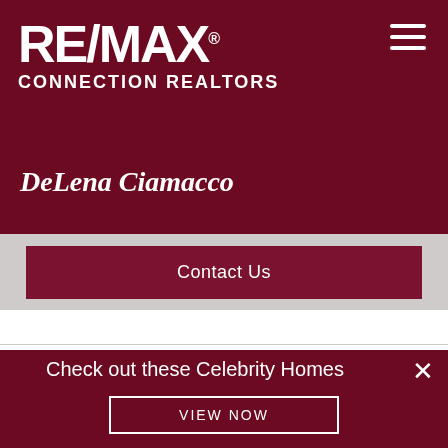[Figure (logo): RE/MAX Connection Realtors logo — white text on dark maroon background with hamburger menu icon top right]
DeLena Ciamacco
Contact Us
Check out these Celebrity Homes
VIEW NOW